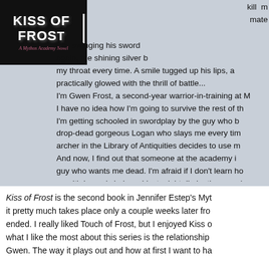[Figure (illustration): Book cover for 'Kiss of Frost: A Mythos Academy Novel' — dark background with white bold title text and a vertical white line, subtitle in pink/mauve italic text]
kill m mate me, swinging his sword again, the shining silver b my throat every time. A smile tugged up his lips, a practically glowed with the thrill of battle... I'm Gwen Frost, a second-year warrior-in-training at I have no idea how I'm going to survive the rest of th I'm getting schooled in swordplay by the guy who b drop-dead gorgeous Logan who slays me every tim archer in the Library of Antiquities decides to use m And now, I find out that someone at the academy i guy who wants me dead. I'm afraid if I don't learn how — with Logan's help — I just might die by the sword...
Kiss of Frost is the second book in Jennifer Estep's Myt it pretty much takes place only a couple weeks later from ended. I really liked Touch of Frost, but I enjoyed Kiss o what I like the most about this series is the relationship Gwen. The way it plays out and how at first I want to ha